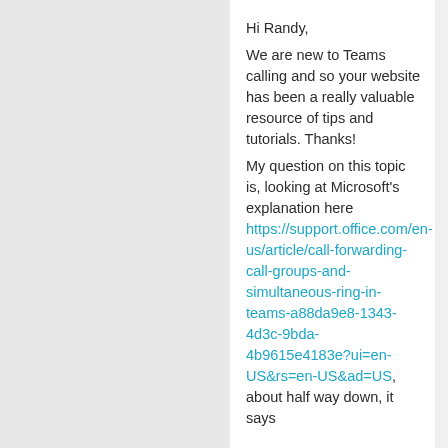Hi Randy,
We are new to Teams calling and so your website has been a really valuable resource of tips and tutorials. Thanks!
My question on this topic is, looking at Microsoft's explanation here https://support.office.com/en-us/article/call-forwarding-call-groups-and-simultaneous-ring-in-teams-a88da9e8-1343-4d3c-9bda-4b9615e4183e?ui=en-US&rs=en-US&ad=US, about half way down, it says
“Group call pickup is less disruptive than other forms of call forwarding...